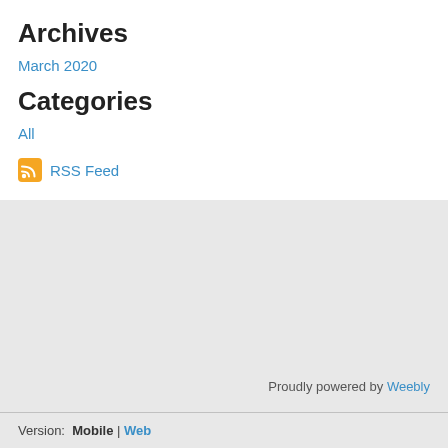Archives
March 2020
Categories
All
RSS Feed
Proudly powered by Weebly
Version: Mobile | Web